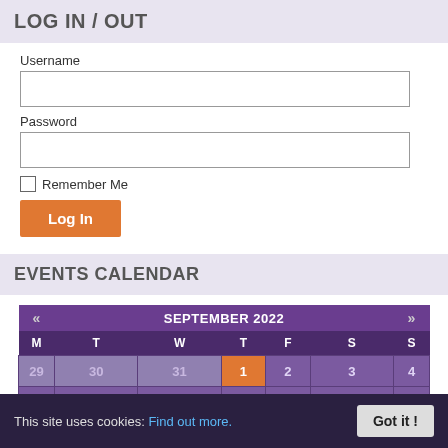LOG IN / OUT
Username
Password
Remember Me
Log In
EVENTS CALENDAR
[Figure (other): Calendar widget showing September 2022 with navigation arrows. Days of week: M T W T F S S. First row: 29 30 31 (prev month), 1 (highlighted in orange/today), 2 3 4. Second row: 5 6 7 8 9 10 11.]
This site uses cookies: Find out more. Got it!